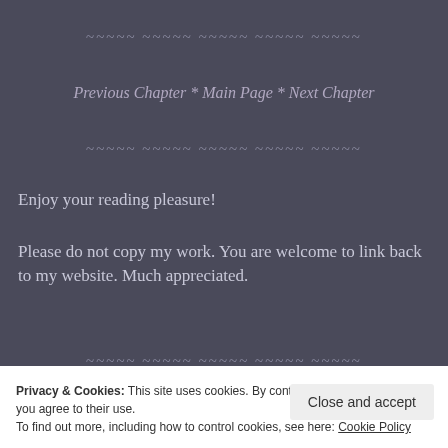~~~~~ ~~~~~ ~~~~~ ~~~~~ ~~~~~
Previous Chapter * Main Page * Next Chapter
~~~~~ ~~~~~ ~~~~~ ~~~~~ ~~~~~
Enjoy your reading pleasure!
Please do not copy my work. You are welcome to link back to my website. Much appreciated.
~~~~~ ~~~~~ ~~~~~ ~~~~~ ~~~~~
Privacy & Cookies: This site uses cookies. By continuing to use this website, you agree to their use.
To find out more, including how to control cookies, see here: Cookie Policy
Close and accept